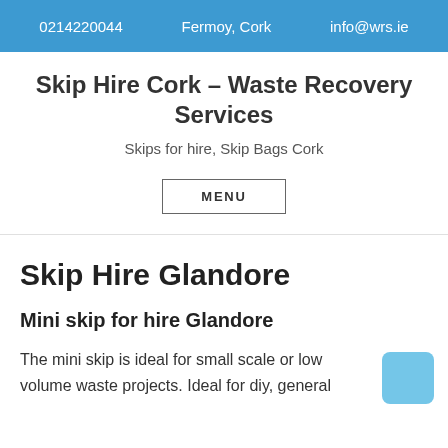0214220044   Fermoy, Cork   info@wrs.ie
Skip Hire Cork – Waste Recovery Services
Skips for hire, Skip Bags Cork
MENU
Skip Hire Glandore
Mini skip for hire Glandore
The mini skip is ideal for small scale or low volume waste projects. Ideal for diy, general